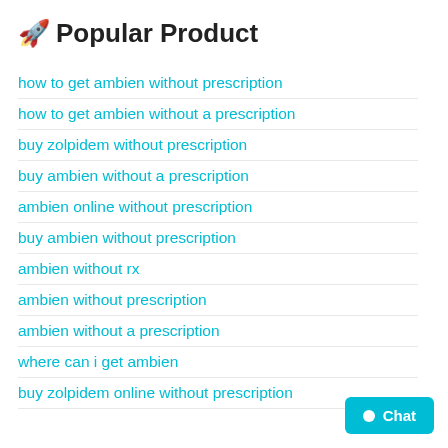🚀 Popular Product
how to get ambien without prescription
how to get ambien without a prescription
buy zolpidem without prescription
buy ambien without a prescription
ambien online without prescription
buy ambien without prescription
ambien without rx
ambien without prescription
ambien without a prescription
where can i get ambien
buy zolpidem online without prescription